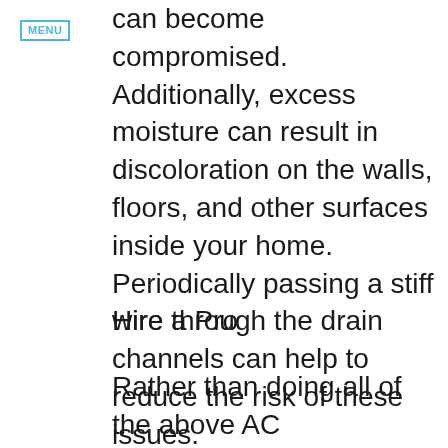MENU
can become compromised. Additionally, excess moisture can result in discoloration on the walls, floors, and other surfaces inside your home. Periodically passing a stiff wire through the drain channels can help to reduce the risk of these issues.
Hire a Pro
Rather than doing all of the above AC maintenance tips yourself, hiring a professional Long Beach, NY air conditioner repair company is highly recommended. Not only will a professional be able to deliver better results, but if any issues are spotted, they'll be able to make the